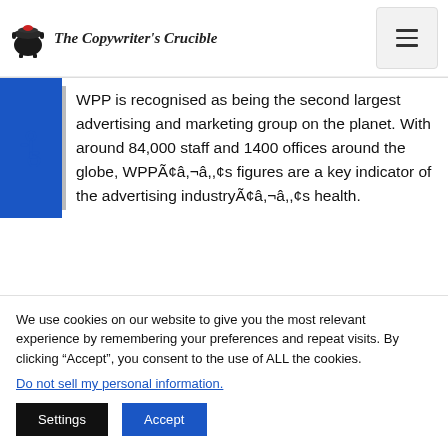The Copywriter's Crucible
WPP is recognised as being the second largest advertising and marketing group on the planet. With around 84,000 staff and 1400 offices around the globe, WPPÃ¢â,¬â,,¢s figures are a key indicator of the advertising industryÃ¢â,¬â,,¢s health.
We use cookies on our website to give you the most relevant experience by remembering your preferences and repeat visits. By clicking “Accept”, you consent to the use of ALL the cookies.
Do not sell my personal information.